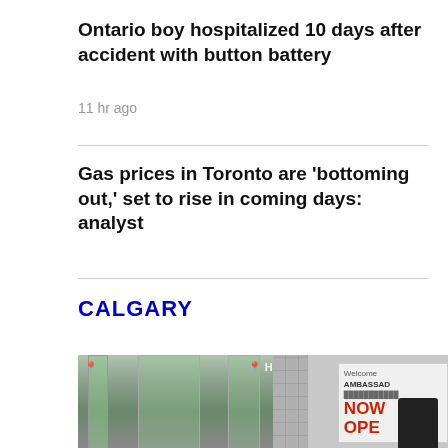Ontario boy hospitalized 10 days after accident with button battery
11 hr ago
Gas prices in Toronto are 'bottoming out,' set to rise in coming days: analyst
CALGARY
[Figure (photo): Photo showing a building entrance with glass doors and panels, a tiled wall, and a sign reading 'Welcome Ambassador NOW OPEN' with a Halifax location overlay and a police figure visible at right]